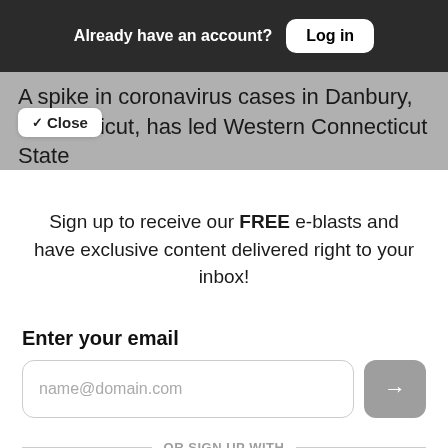Already have an account? Log in
A spike in coronavirus cases in Danbury, Connecticut, has led Western Connecticut State University to temporarily move all classes online
✓ Close
Sign up to receive our FREE e-blasts and have exclusive content delivered right to your inbox!
Enter your email
name@domain.com
OR SIGN UP WITH